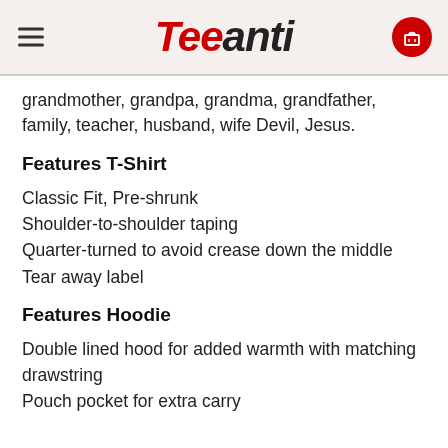Teeanti
grandmother, grandpa, grandma, grandfather, family, teacher, husband, wife Devil, Jesus.
Features T-Shirt
Classic Fit, Pre-shrunk
Shoulder-to-shoulder taping
Quarter-turned to avoid crease down the middle
Tear away label
Features Hoodie
Double lined hood for added warmth with matching drawstring
Pouch pocket for extra carry